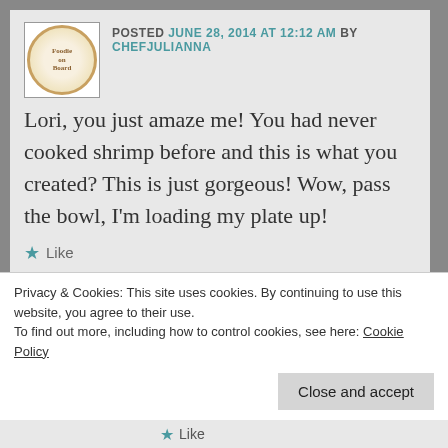[Figure (logo): Avatar/logo image with wreath design labeled 'Foodie on Board']
POSTED JUNE 28, 2014 AT 12:12 AM BY CHEFJULIANNA
Lori, you just amaze me! You had never cooked shrimp before and this is what you created? This is just gorgeous! Wow, pass the bowl, I’m loading my plate up!
★ Like
REPLY
[Figure (photo): Small profile photo of a person drinking from a cup]
POSTED JUNE 30, 2014 AT 1:36 PM BY LORI
Privacy & Cookies: This site uses cookies. By continuing to use this website, you agree to their use.
To find out more, including how to control cookies, see here: Cookie Policy
Close and accept
★ Like